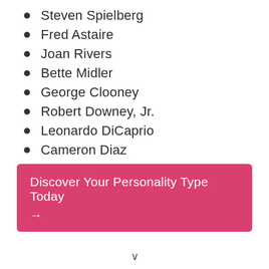Steven Spielberg
Fred Astaire
Joan Rivers
Bette Midler
George Clooney
Robert Downey, Jr.
Leonardo DiCaprio
Cameron Diaz
Larry King
Simon Cowell
Discover Your Personality Type Today →